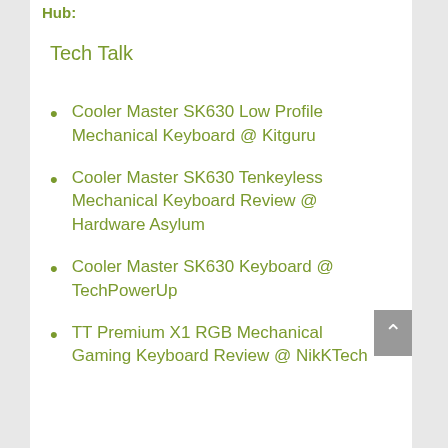Hub:
Tech Talk
Cooler Master SK630 Low Profile Mechanical Keyboard @ Kitguru
Cooler Master SK630 Tenkeyless Mechanical Keyboard Review @ Hardware Asylum
Cooler Master SK630 Keyboard @ TechPowerUp
TT Premium X1 RGB Mechanical Gaming Keyboard Review @ NikKTech